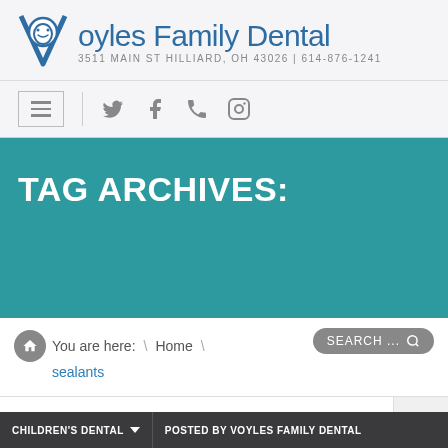[Figure (logo): Voyles Family Dental logo with tooth icon and text: 3511 MAIN ST HILLIARD, OH 43026 | 614-876-1241]
[Figure (screenshot): Navigation bar with hamburger menu icon, divider, and social media icons (Twitter, Facebook, phone, Instagram)]
TAG ARCHIVES:
You are here: \ Home \ sealants
SEARCH ...
CHILDREN'S DENTAL
POSTED BY VOYLES FAMILY DENTAL